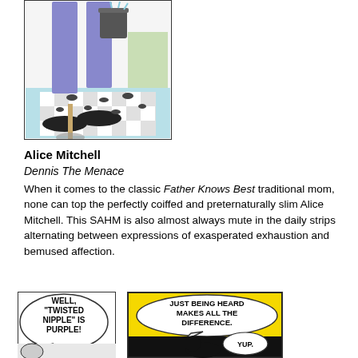[Figure (illustration): Comic strip panel showing Alice Mitchell's legs in purple pants and black shoes, carrying a bucket, stepping over scattered items on a checkered floor]
Alice Mitchell
Dennis The Menace
When it comes to the classic Father Knows Best traditional mom, none can top the perfectly coiffed and preternaturally slim Alice Mitchell. This SAHM is also almost always mute in the daily strips alternating between expressions of exasperated exhaustion and bemused affection.
[Figure (illustration): Comic strip panel with speech bubble reading: WELL, "TWISTED NIPPLE" IS PURPLE!]
[Figure (illustration): Comic strip panel with speech bubble reading: JUST BEING HEARD MAKES ALL THE DIFFERENCE. YUP.]